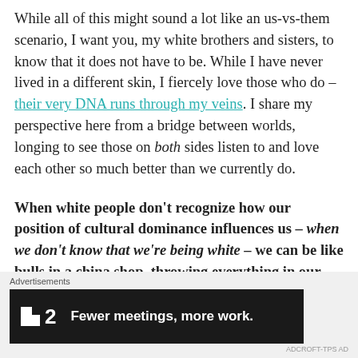While all of this might sound a lot like an us-vs-them scenario, I want you, my white brothers and sisters, to know that it does not have to be. While I have never lived in a different skin, I fiercely love those who do – their very DNA runs through my veins. I share my perspective here from a bridge between worlds, longing to see those on both sides listen to and love each other so much better than we currently do.
When white people don't recognize how our position of cultural dominance influences us – when we don't know that we're being white – we can be like bulls in a china shop, throwing everything in our wake askew without even
[Figure (other): Advertisement banner: Fewer meetings, more work. (Flat icon app logo with numeral 2)]